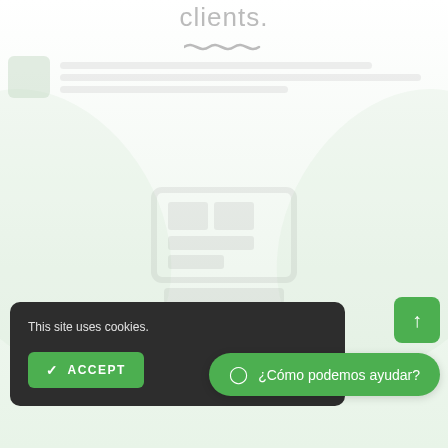clients.
[Figure (screenshot): Website screenshot showing a faded/watermarked logo in the center, decorative background shapes, a wavy underline decoration, and blurred review content rows at the top.]
This site uses cookies.
✓ ACCEPT
¿Cómo podemos ayudar?